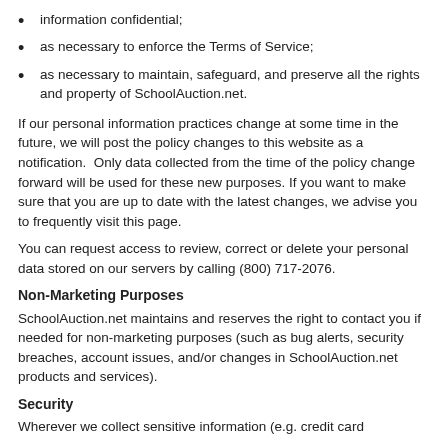information confidential;
as necessary to enforce the Terms of Service;
as necessary to maintain, safeguard, and preserve all the rights and property of SchoolAuction.net.
If our personal information practices change at some time in the future, we will post the policy changes to this website as a notification.  Only data collected from the time of the policy change forward will be used for these new purposes. If you want to make sure that you are up to date with the latest changes, we advise you to frequently visit this page.
You can request access to review, correct or delete your personal data stored on our servers by calling (800) 717-2076.
Non-Marketing Purposes
SchoolAuction.net maintains and reserves the right to contact you if needed for non-marketing purposes (such as bug alerts, security breaches, account issues, and/or changes in SchoolAuction.net products and services).
Security
Wherever we collect sensitive information (e.g. credit card